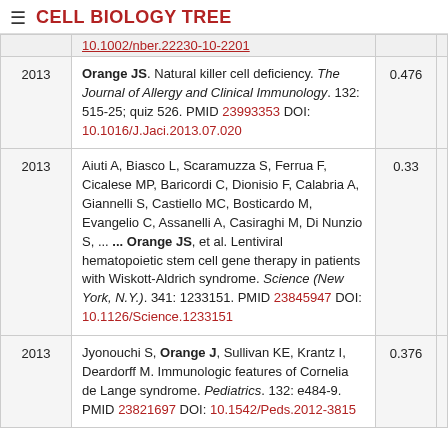CELL BIOLOGY TREE
| Year | Citation | Score |  |
| --- | --- | --- | --- |
| 2013 | Orange JS. Natural killer cell deficiency. The Journal of Allergy and Clinical Immunology. 132: 515-25; quiz 526. PMID 23993353 DOI: 10.1016/J.Jaci.2013.07.020 | 0.476 |  |
| 2013 | Aiuti A, Biasco L, Scaramuzza S, Ferrua F, Cicalese MP, Baricordi C, Dionisio F, Calabria A, Giannelli S, Castiello MC, Bosticardo M, Evangelio C, Assanelli A, Casiraghi M, Di Nunzio S, ... ... Orange JS, et al. Lentiviral hematopoietic stem cell gene therapy in patients with Wiskott-Aldrich syndrome. Science (New York, N.Y.). 341: 1233151. PMID 23845947 DOI: 10.1126/Science.1233151 | 0.33 |  |
| 2013 | Jyonouchi S, Orange J, Sullivan KE, Krantz I, Deardorff M. Immunologic features of Cornelia de Lange syndrome. Pediatrics. 132: e484-9. PMID 23821697 DOI: 10.1542/Peds.2012-3815 | 0.376 |  |